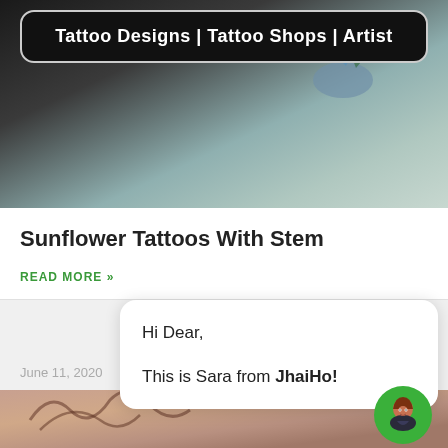Tattoo Designs | Tattoo Shops | Artist
[Figure (photo): Close-up photo of a tattoo on skin, showing a hummingbird with green and purple coloring against a dark and light background]
Sunflower Tattoos With Stem
READ MORE »
June 11, 2020
[Figure (photo): Close-up photo of a tattoo on skin showing a Buddha face design in brown tones]
Hi Dear,

This is Sara from JhaiHo!